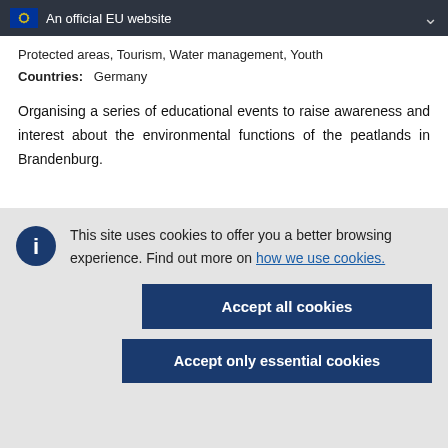An official EU website
Protected areas, Tourism, Water management, Youth
Countries: Germany
Organising a series of educational events to raise awareness and interest about the environmental functions of the peatlands in Brandenburg.
This site uses cookies to offer you a better browsing experience. Find out more on how we use cookies.